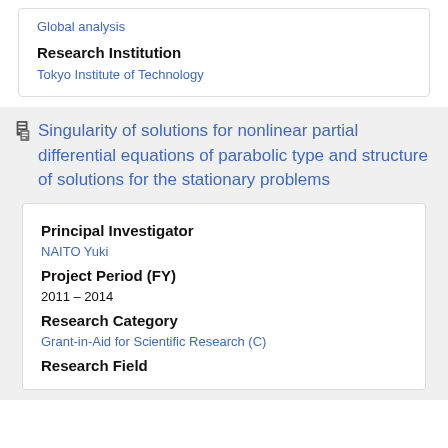Global analysis
Research Institution
Tokyo Institute of Technology
Singularity of solutions for nonlinear partial differential equations of parabolic type and structure of solutions for the stationary problems
Principal Investigator
NAITO Yuki
Project Period (FY)
2011 – 2014
Research Category
Grant-in-Aid for Scientific Research (C)
Research Field